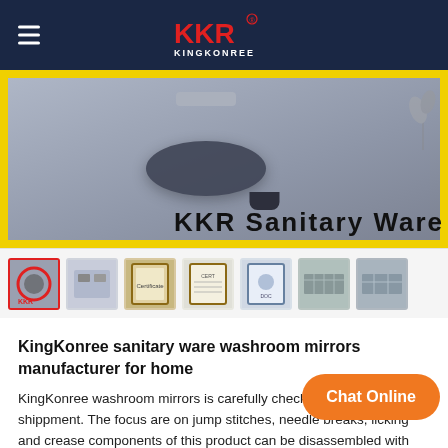KKR KINGKONREE
[Figure (photo): Hero image showing a dark basin/sink on a counter with yellow border frame and 'KKR Sanitary Ware' text overlay]
[Figure (photo): Thumbnail strip showing 7 product and certificate images, first one selected with red border]
KingKonree sanitary ware washroom mirrors manufacturer for home
KingKonree washroom mirrors is carefully checked before shippment. The focus are on jump stitches, needle breaks, licking and crease components of this product can be disassembled with little effort